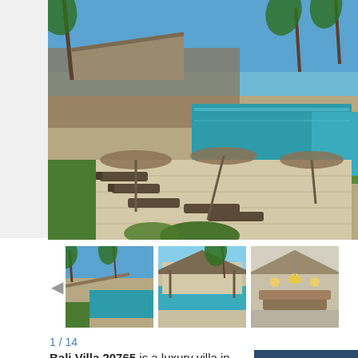[Figure (photo): Aerial/elevated view of a luxury Bali villa pool area with loungers and beach umbrellas, ocean visible in the background, palm trees and traditional thatched-roof buildings]
[Figure (photo): Thumbnail 1: Villa exterior with pool and palm trees under blue sky]
[Figure (photo): Thumbnail 2: Pool area with traditional thatched pavilion structures]
[Figure (photo): Thumbnail 3: Interior/covered pavilion area with lighting]
1 / 14
Bali Villa 20765 is a luxury villa in Canggu, situated right on the beach at
REQUEST RESER